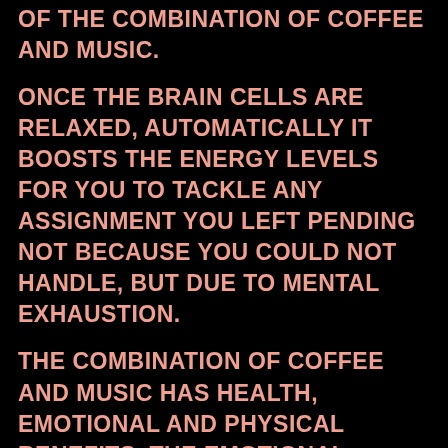of the combination of coffee and music.
Once the brain cells are relaxed, automatically it boosts the energy levels for you to tackle any assignment you left pending not because you could not handle, but due to mental exhaustion.
The combination of coffee and music has health, emotional and physical benefits. The emotional benefits allow you to ease with yourself while creating a good environment for positive thinking. The physical benefit attributes to increased energy levels for enhanced psychomotor skills.